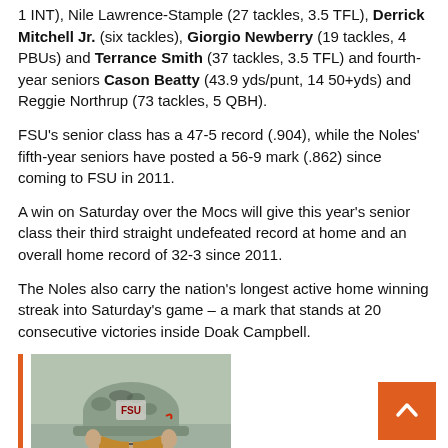1 INT), Nile Lawrence-Stample (27 tackles, 3.5 TFL), Derrick Mitchell Jr. (six tackles), Giorgio Newberry (19 tackles, 4 PBUs) and Terrance Smith (37 tackles, 3.5 TFL) and fourth-year seniors Cason Beatty (43.9 yds/punt, 14 50+yds) and Reggie Northrup (73 tackles, 5 QBH).
FSU's senior class has a 47-5 record (.904), while the Noles' fifth-year seniors have posted a 56-9 mark (.862) since coming to FSU in 2011.
A win on Saturday over the Mocs will give this year's senior class their third straight undefeated record at home and an overall home record of 32-3 since 2011.
The Noles also carry the nation's longest active home winning streak into Saturday's game – a mark that stands at 20 consecutive victories inside Doak Campbell.
[Figure (photo): Photo of a person wearing a camouflage FSU cap with sunglasses, photographed outdoors. An orange vertical bar appears on the left side of the image. A back-to-top button (orange square with white chevron) appears in the lower right.]